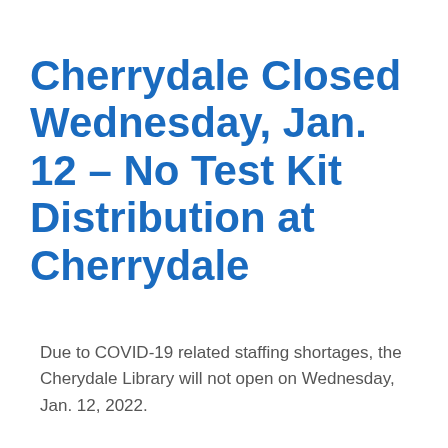Cherrydale Closed Wednesday, Jan. 12 – No Test Kit Distribution at Cherrydale
Due to COVID-19 related staffing shortages, the Cherydale Library will not open on Wednesday, Jan. 12, 2022.